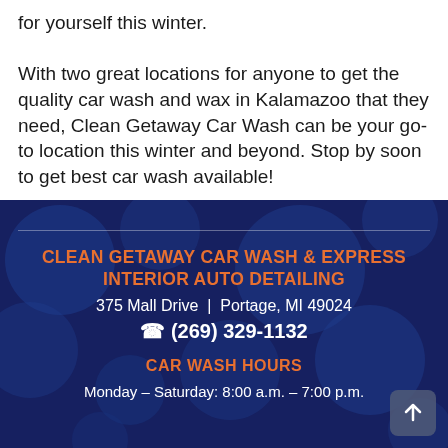for yourself this winter.

With two great locations for anyone to get the quality car wash and wax in Kalamazoo that they need, Clean Getaway Car Wash can be your go-to location this winter and beyond. Stop by soon to get best car wash available!
CLEAN GETAWAY CAR WASH & EXPRESS INTERIOR AUTO DETAILING
375 Mall Drive | Portage, MI 49024
(269) 329-1132
CAR WASH HOURS
Monday – Saturday: 8:00 a.m. – 7:00 p.m.